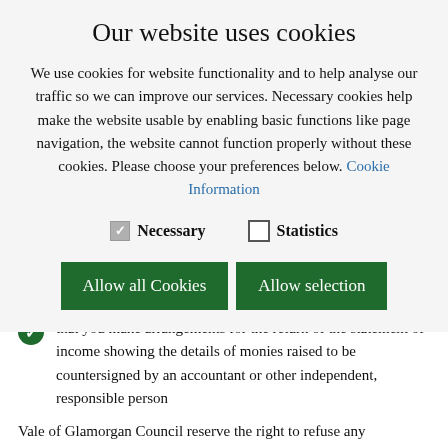Our website uses cookies
We use cookies for website functionality and to help analyse our traffic so we can improve our services. Necessary cookies help make the website usable by enabling basic functions like page navigation, the website cannot function properly without these cookies. Please choose your preferences below. Cookie Information
Necessary   Statistics
Allow all Cookies   Allow selection
that you make arrangements for the return of the statement of income showing the details of monies raised to be countersigned by an accountant or other independent, responsible person
Vale of Glamorgan Council reserve the right to refuse any application for a Street Collection Permit and it is likely that any previous contravention of the Council's Street Collection Regulations would result in such action being taken.